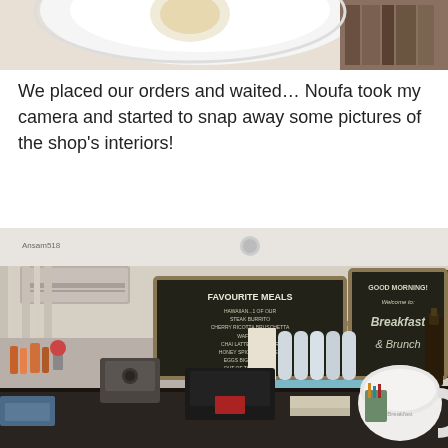[Figure (photo): Top portion of a photo showing a white plate/cup and some items on a table, cropped at the top of the page]
We placed our orders and waited… Noufa took my camera and started to snap away some pictures of the shop's interiors!
[Figure (photo): Interior of a cafe/breakfast brunch shop showing a counter with a chalkboard sign reading 'FAVOURITE MEALS', another chalkboard reading 'GOOD MORNING! Welcome to: Breakfast & Brunch', a Kuwait flag, an espresso machine, a printer, canned drinks on shelves, and a large white coffee cup. Watermark reads 'Ansam518'.]